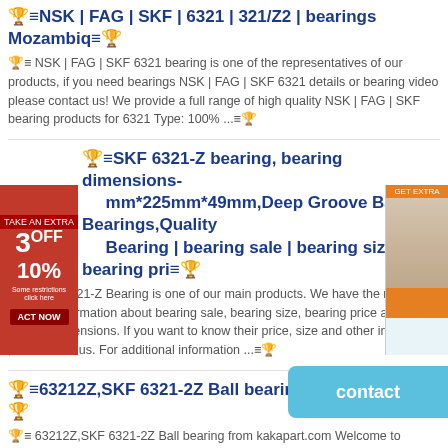🏆≡NSK | FAG | SKF | 6321 | 321/Z2 | bearings Mozambiq≡🏆
🏆≡ NSK | FAG | SKF 6321 bearing is one of the representatives of our products, if you need bearings NSK | FAG | SKF 6321 details or bearing video please contact us! We provide a full range of high quality NSK | FAG | SKF bearing products for 6321 Type: 100% ...≡🏆
🏆≡SKF 6321-Z bearing, bearing dimensions-mm*225mm*49mm,Deep Groove Ball Bearings,Quality Bearing | bearing sale | bearing size | bearing pri≡🏆
🏆≡ SKF 6321-Z Bearing is one of our main products. We have the most detailed information about bearing sale, bearing size, bearing price and bearing dimensions. If you want to know their price, size and other information ,can contact us. For additional information ...≡🏆
🏆≡63212Z,SKF 6321-2Z Ball bearing - KaKaPart.c≡🏆
🏆≡ 63212Z,SKF 6321-2Z Ball bearing from kakapart.com Welcome to KakaPart.com , Join Free | Sign In Home Products Manufacturers Buy Post Buying Requests My KakaPart ...≡🏆
🏆≡6321-2Z SKF roller beari≡🏆
🏆≡ Eric bearing limited company mainly supply high precision, low friction bearing 6321-2Z SKF.In the past 12 years, 6321-2Z SKF is widely used in construction machinery industries, electric power industries and steel...